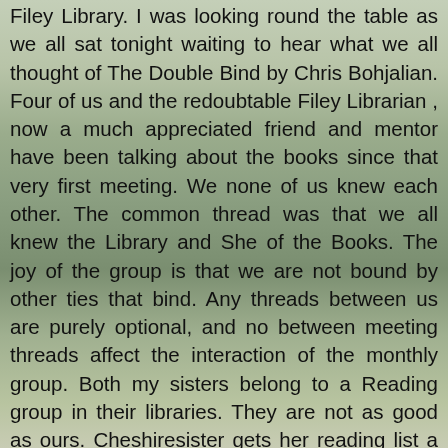Filey Library. I was looking round the table as we all sat tonight waiting to hear what we all thought of The Double Bind by Chris Bohjalian. Four of us and the redoubtable Filey Librarian , now a much appreciated friend and mentor have been talking about the books since that very first meeting. We none of us knew each other. The common thread was that we all knew the Library and She of the Books. The joy of the group is that we are not bound by other ties that bind. Any threads between us are purely optional, and no between meeting threads affect the interaction of the monthly group. Both my sisters belong to a Reading group in their libraries. They are not as good as ours. Cheshiresister gets her reading list a year in advance.  Now I ask you what fun is there in that?  We sit there like schoolgirls waiting for the next copy of Romeo as the books are brought out from under the Library counter, a neat pile, spines in, secret still .Then at revelation there are gasps and outbursts, as those who have read it before smirk, and those who have never heard of the author wish they had. At Hullsisters Reading group there is a domination of know it alls ,with superior speech, and an academic zeal. At my Reading group we do not exactly show off, we just have